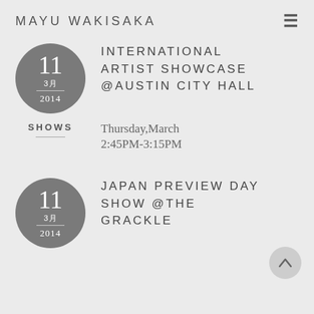MAYU WAKISAKA
[Figure (other): Gray circle with date: 11, 3月, 2014]
INTERNATIONAL ARTIST SHOWCASE @AUSTIN CITY HALL
SHOWS
Thursday,March
2:45PM-3:15PM
[Figure (other): Gray circle with date: 11, 3月, 2014]
JAPAN PREVIEW DAY SHOW @THE GRACKLE